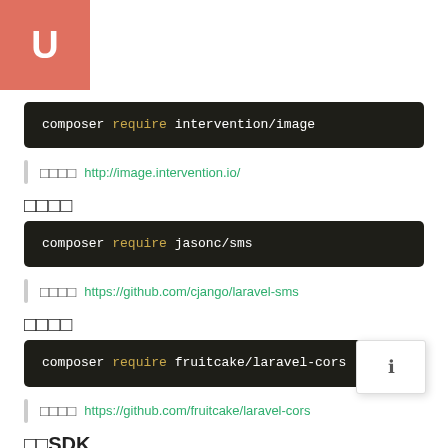U
composer require intervention/image
参考 http://image.intervention.io/
短信验证
composer require jasonc/sms
参考 https://github.com/cjango/laravel-sms
跨域请求
composer require fruitcake/laravel-cors
参考 https://github.com/fruitcake/laravel-cors
微信SDK